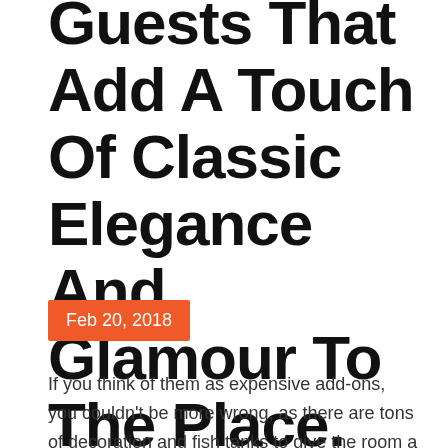Guests That Add A Touch Of Classic Elegance And Glamour To The Place.
Feb 20, 2018
If you think of them as expensive add-ons, you couldn't be more wrong, as there are tons of decoration and fish tanks to give the room a typical nautical look. Once you are done with the colon scheme, then you need to work frases bonitas cortas on the most that you have to adhere to. You can also use snowflakes for glasses and motifs